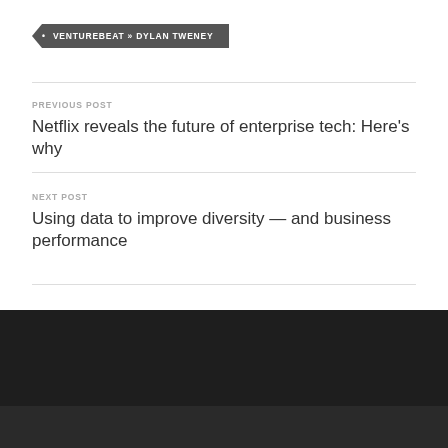• VENTUREBEAT » DYLAN TWENEY
PREVIOUS POST
Netflix reveals the future of enterprise tech: Here's why
NEXT POST
Using data to improve diversity — and business performance
© 2022 DYLAN TWENEY — UP ↑